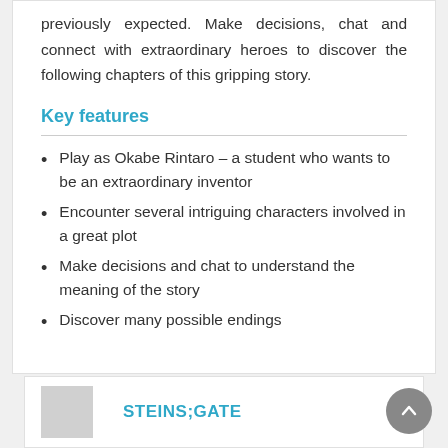previously expected. Make decisions, chat and connect with extraordinary heroes to discover the following chapters of this gripping story.
Key features
Play as Okabe Rintaro – a student who wants to be an extraordinary inventor
Encounter several intriguing characters involved in a great plot
Make decisions and chat to understand the meaning of the story
Discover many possible endings
STEINS;GATE